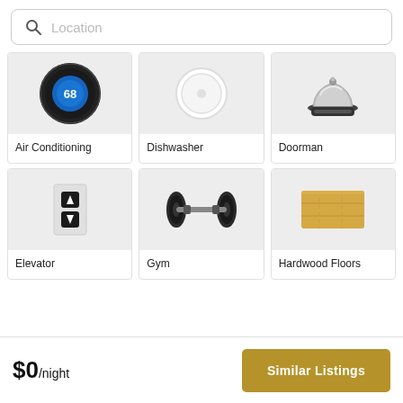[Figure (screenshot): Search bar with magnifying glass icon and 'Location' placeholder text]
[Figure (illustration): Air Conditioning amenity card with thermostat showing 68 degrees]
Air Conditioning
[Figure (illustration): Dishwasher amenity card with white circular dishwasher icon]
Dishwasher
[Figure (illustration): Doorman amenity card with hotel service bell]
Doorman
[Figure (illustration): Elevator amenity card with up/down arrow buttons]
Elevator
[Figure (illustration): Gym amenity card with dumbbell weight]
Gym
[Figure (illustration): Hardwood Floors amenity card with wood plank texture]
Hardwood Floors
$0/night
Similar Listings